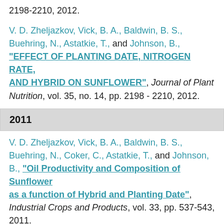2198-2210, 2012.
V. D. Zheljazkov, Vick, B. A., Baldwin, B. S., Buehring, N., Astatkie, T., and Johnson, B., "EFFECT OF PLANTING DATE, NITROGEN RATE, AND HYBRID ON SUNFLOWER", Journal of Plant Nutrition, vol. 35, no. 14, pp. 2198 - 2210, 2012.
2011
V. D. Zheljazkov, Vick, B. A., Baldwin, B. S., Buehring, N., Coker, C., Astatkie, T., and Johnson, B., "Oil Productivity and Composition of Sunflower as a function of Hybrid and Planting Date", Industrial Crops and Products, vol. 33, pp. 537-543, 2011.